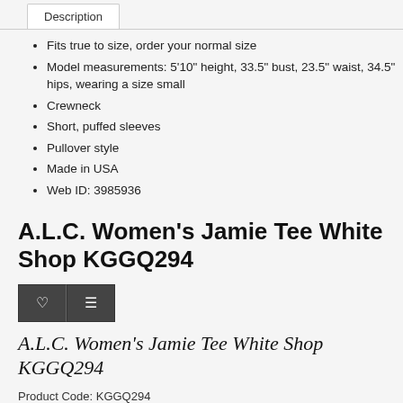Description
Fits true to size, order your normal size
Model measurements: 5'10" height, 33.5" bust, 23.5" waist, 34.5" hips, wearing a size small
Crewneck
Short, puffed sleeves
Pullover style
Made in USA
Web ID: 3985936
A.L.C. Women's Jamie Tee White Shop KGGQ294
A.L.C. Women's Jamie Tee White Shop KGGQ294
Product Code: KGGQ294
Availability: In Stock